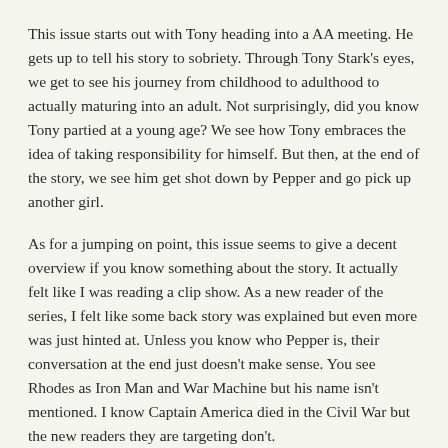This issue starts out with Tony heading into a AA meeting. He gets up to tell his story to sobriety. Through Tony Stark's eyes, we get to see his journey from childhood to adulthood to actually maturing into an adult. Not surprisingly, did you know Tony partied at a young age? We see how Tony embraces the idea of taking responsibility for himself. But then, at the end of the story, we see him get shot down by Pepper and go pick up another girl.
As for a jumping on point, this issue seems to give a decent overview if you know something about the story. It actually felt like I was reading a clip show. As a new reader of the series, I felt like some back story was explained but even more was just hinted at. Unless you know who Pepper is, their conversation at the end just doesn't make sense. You see Rhodes as Iron Man and War Machine but his name isn't mentioned. I know Captain America died in the Civil War but the new readers they are targeting don't.
I did learn some new things I didn't know. It was interesting to see Tony as homeless and strung out. However, I just don't think this character is for me. He does provide a dramatic story but it's just too much drama for me.